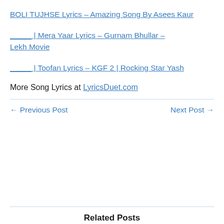BOLI TUJHSE Lyrics – Amazing Song By Asees Kaur
_____ | Mera Yaar Lyrics – Gurnam Bhullar – Lekh Movie
_____ | Toofan Lyrics – KGF 2 | Rocking Star Yash
More Song Lyrics at LyricsDuet.com
← Previous Post    Next Post →
Related Posts